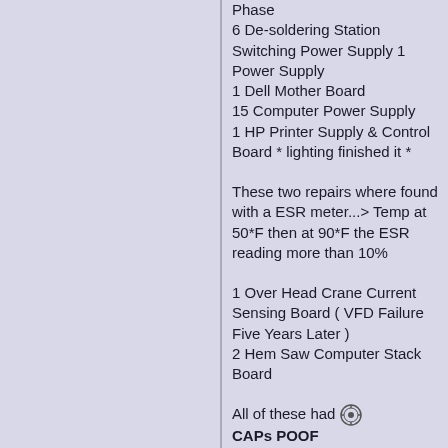Phase
6 De-soldering Station Switching Power Supply 1 Power Supply
1 Dell Mother Board
15 Computer Power Supply
1 HP Printer Supply & Control Board * lighting finished it *
These two repairs where found with a ESR meter...> Temp at 50*F then at 90*F the ESR reading more than 10%
1 Over Head Crane Current Sensing Board ( VFD Failure Five Years Later )
2 Hem Saw Computer Stack Board
All of these had [emoji] CAPs POOF
All of the mosfet that are taken out by bad caps